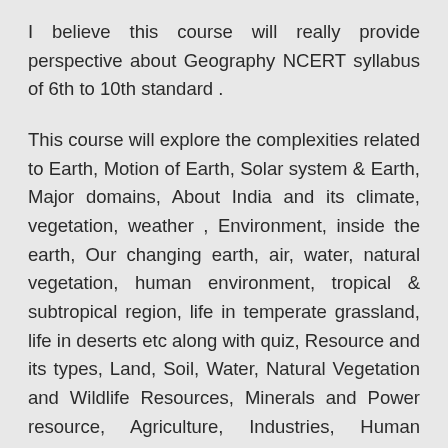I believe this course will really provide perspective about Geography NCERT syllabus of 6th to 10th standard .
This course will explore the complexities related to Earth, Motion of Earth, Solar system & Earth, Major domains, About India and its climate, vegetation, weather , Environment, inside the earth, Our changing earth, air, water, natural vegetation, human environment, tropical & subtropical region, life in temperate grassland, life in deserts etc along with quiz, Resource and its types, Land, Soil, Water, Natural Vegetation and Wildlife Resources, Minerals and Power resource, Agriculture, Industries, Human Resource, India – Size, and Location, Physical Features of India, Drainage, Climate, Natural